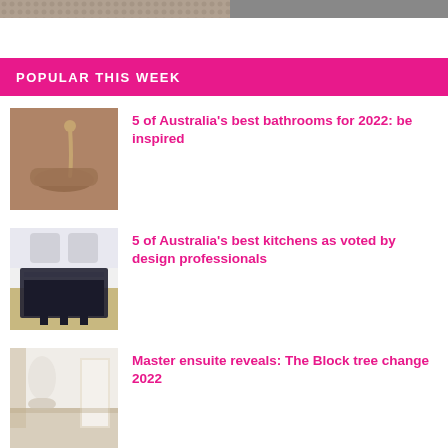[Figure (photo): Cropped top image strip showing tiled/patterned surfaces]
POPULAR THIS WEEK
[Figure (photo): Bathroom with stone sink and gold faucet]
5 of Australia’s best bathrooms for 2022: be inspired
[Figure (photo): Modern white kitchen with dark island and bar stools]
5 of Australia’s best kitchens as voted by design professionals
[Figure (photo): Master ensuite with white decor and natural light]
Master ensuite reveals: The Block tree change 2022